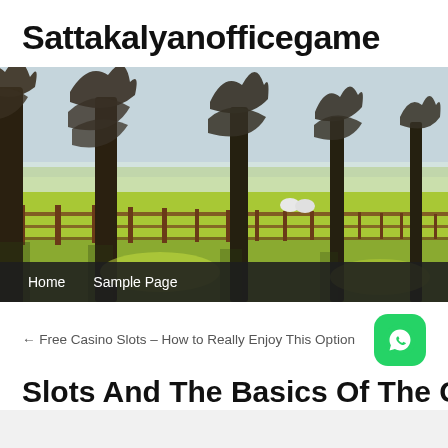Sattakalyanofficegame
[Figure (photo): Outdoor scene with large bare trees lining a fence-enclosed field, with sheep visible in the background and bright sunlight on grass]
Home   Sample Page
← Free Casino Slots – How to Really Enjoy This Option
[Figure (logo): WhatsApp green rounded square icon]
Slots And The Basics Of The G...